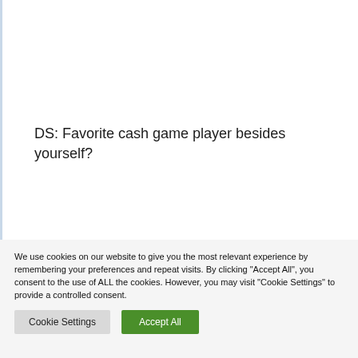DS: Favorite cash game player besides yourself?
Phil D'Auteuil: Gotta go with ADZ, he's given me so much money.
We use cookies on our website to give you the most relevant experience by remembering your preferences and repeat visits. By clicking "Accept All", you consent to the use of ALL the cookies. However, you may visit "Cookie Settings" to provide a controlled consent.